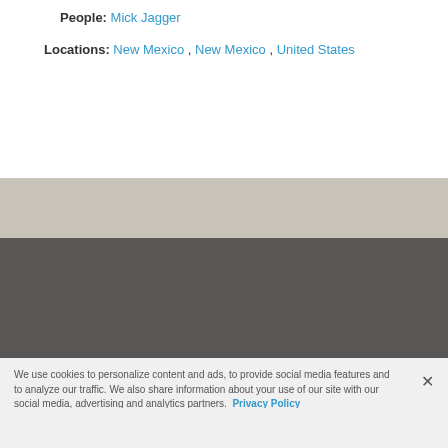People: Mick Jagger
Locations: New Mexico , New Mexico , United States
AP ARCHIVE
ASSOCIATED PRESS
About Us
Our Content
How We Work
News
About AP
AP Leadership
History
Industry Leadership
Intellectual Property...
We use cookies to personalize content and ads, to provide social media features and to analyze our traffic. We also share information about your use of our site with our social media, advertising and analytics partners. Privacy Policy
Cookies Settings
Accept All Cookies